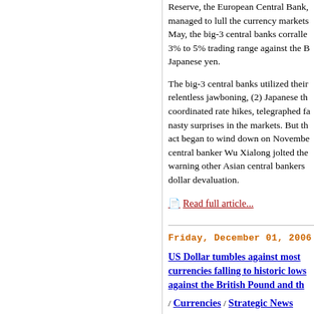Reserve, the European Central Bank, managed to lull the currency markets May, the big-3 central banks corralled 3% to 5% trading range against the Japanese yen.
The big-3 central banks utilized their relentless jawboning, (2) Japanese th coordinated rate hikes, telegraphed fa nasty surprises in the markets. But the act began to wind down on November central banker Wu Xialong jolted the warning other Asian central bankers dollar devaluation.
Read full article...
Friday, December 01, 2006
US Dollar tumbles against most currencies falling to historic lows against the British Pound and th / Currencies / Strategic News